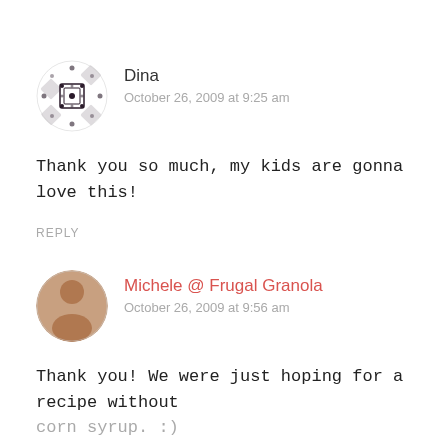[Figure (illustration): Decorative avatar icon with geometric diamond/dot pattern in dark color, circular shape]
Dina
October 26, 2009 at 9:25 am
Thank you so much, my kids are gonna love this!
REPLY
[Figure (photo): Small circular avatar photo of a person]
Michele @ Frugal Granola
October 26, 2009 at 9:56 am
Thank you! We were just hoping for a recipe without corn syrup. :)